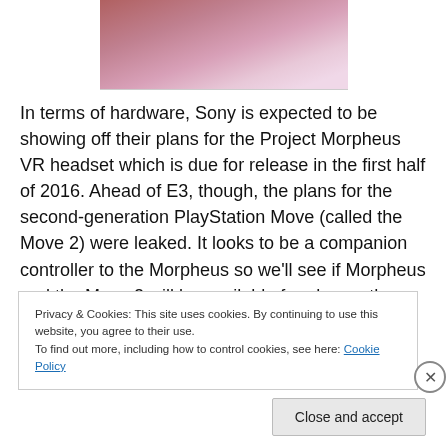[Figure (photo): Partial photo of layered pink/mauve sheets or paper, cropped at top of page]
In terms of hardware, Sony is expected to be showing off their plans for the Project Morpheus VR headset which is due for release in the first half of 2016. Ahead of E3, though, the plans for the second-generation PlayStation Move (called the Move 2) were leaked. It looks to be a companion controller to the Morpheus so we'll see if Morpheus and the Move 2 will be available for play on the floor at E3. I would certainly expect to see a demo on-
Privacy & Cookies: This site uses cookies. By continuing to use this website, you agree to their use.
To find out more, including how to control cookies, see here: Cookie Policy
Close and accept